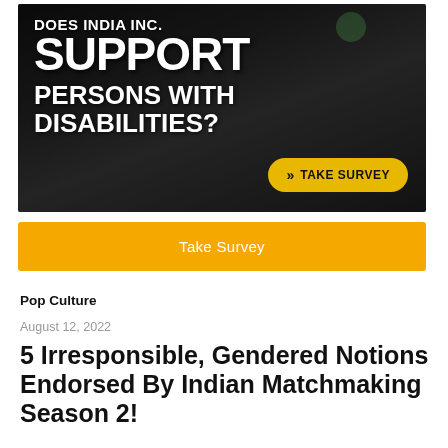[Figure (infographic): Advertisement banner with dark background showing people. White bold text reads: DOES INDIA INC. SUPPORT PERSONS WITH DISABILITIES? Yellow pill-shaped button says: TAKE SURVEY]
Take Survey
Pop Culture
August 12, 2022
5 Irresponsible, Gendered Notions Endorsed By Indian Matchmaking Season 2!